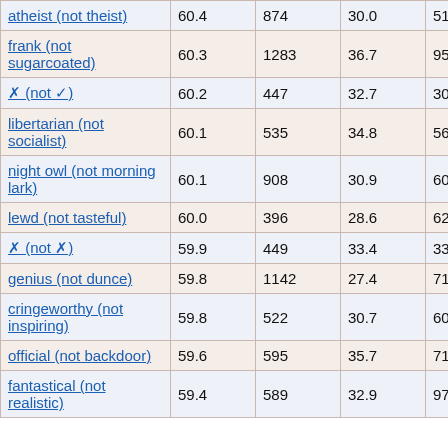| atheist (not theist) | 60.4 | 874 | 30.0 | 519 |
| frank (not sugarcoated) | 60.3 | 1283 | 36.7 | 95 |
| ? (not ?) | 60.2 | 447 | 32.7 | 308 |
| libertarian (not socialist) | 60.1 | 535 | 34.8 | 568 |
| night owl (not morning lark) | 60.1 | 908 | 30.9 | 601 |
| lewd (not tasteful) | 60.0 | 396 | 28.6 | 622 |
| ? (not ?) | 59.9 | 449 | 33.4 | 334 |
| genius (not dunce) | 59.8 | 1142 | 27.4 | 710 |
| cringeworthy (not inspiring) | 59.8 | 522 | 30.7 | 609 |
| official (not backdoor) | 59.6 | 595 | 35.7 | 715 |
| fantastical (not realistic) | 59.4 | 589 | 32.9 | 97 |